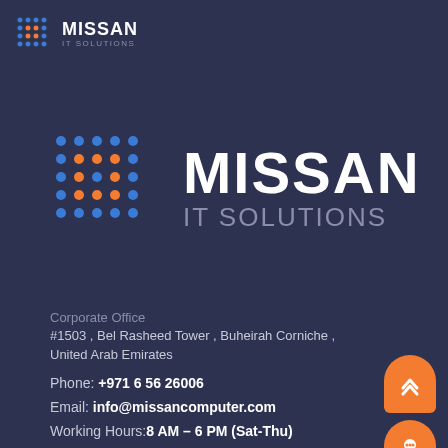[Figure (logo): Missan IT Solutions logo top-left: grid icon with blue and orange dots next to MISSAN IT SOLUTIONS text]
[Figure (logo): Missan IT Solutions large center logo: 5x5 dot grid with blue and orange dots next to large MISSAN IT SOLUTIONS text]
Corporate Office
#1503 , Bel Rasheed Tower , Buheirah Corniche , United Arab Emirates
Phone: +971 6 56 26006
Email: info@missancomputer.com
Working Hours:8 AM – 6 PM (Sat-Thu)
Service Center
Al Meena St - Shariah